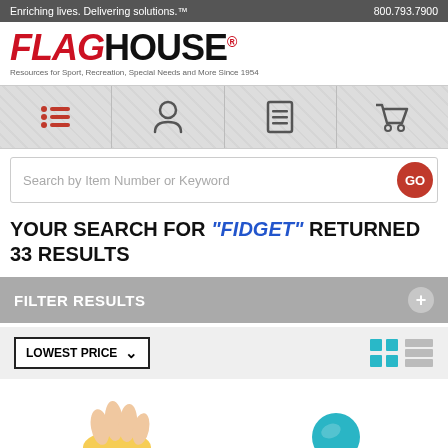Enriching lives. Delivering solutions.™  |  800.793.7900
[Figure (logo): FlagHouse logo with tagline: Resources for Sport, Recreation, Special Needs and More Since 1954]
[Figure (screenshot): Navigation icon bar with four icons: list/menu, account/person, catalog/document, shopping cart]
Search by Item Number or Keyword
YOUR SEARCH FOR "FIDGET" RETURNED 33 RESULTS
FILTER RESULTS
LOWEST PRICE
[Figure (photo): Bottom portion of page showing product thumbnail images - fingers holding a yellow fidget item on the left, and a teal/blue spherical fidget item on the right]